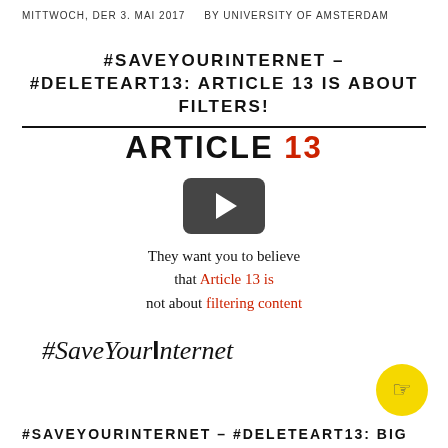MITTWOCH, DER 3. MAI 2017    BY UNIVERSITY OF AMSTERDAM
#SAVEYOURINTERNET – #DELETEART13: ARTICLE 13 IS ABOUT FILTERS!
[Figure (screenshot): Video thumbnail showing 'ARTICLE 13' text with '13' in red, overlaid with a YouTube-style play button. Below reads 'They want you to believe that Article 13 is not about filtering content' with 'Article 13 is' and 'filtering content' in red. Below the video is the #SaveYourInternet logo.]
# SAVEYOURINTERNET – #DELETEART13: BIG